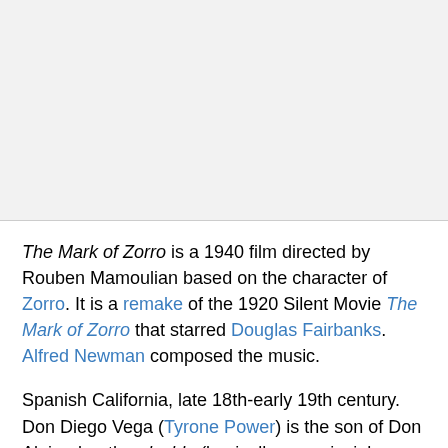[Figure (other): Gray image/photo area at top of page, approximately 220px tall]
The Mark of Zorro is a 1940 film directed by Rouben Mamoulian based on the character of Zorro. It is a remake of the 1920 Silent Movie The Mark of Zorro that starred Douglas Fairbanks. Alfred Newman composed the music.
Spanish California, late 18th-early 19th century. Don Diego Vega (Tyrone Power) is the son of Don Alejandro, the alcalde (basically a provincial administrator) of a sleepy town called Los Angeles. Diego, who is studying at a military academy back in Spain, comes home to find that his father has been deposed as alcalde. The new alcalde, Luis Quintero, is a corrupt stooge who is victimizing the people with oppressively high taxes which he is using to line his